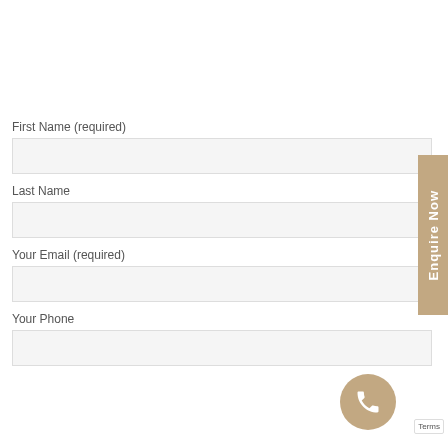First Name (required)
Last Name
Your Email (required)
Your Phone
[Figure (other): Vertical tan/beige tab button on right side reading 'Enquire Now' in white rotated text]
[Figure (other): Circular tan/beige phone icon button at bottom right]